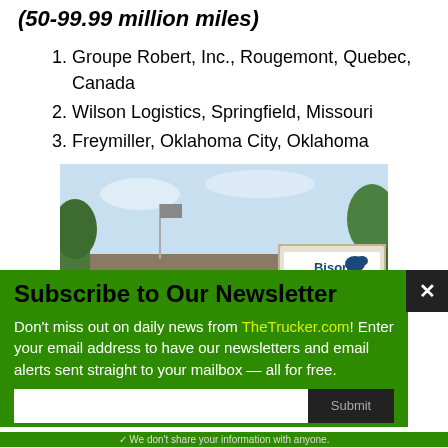(50-99.99 million miles)
1. Groupe Robert, Inc., Rougemont, Quebec, Canada
2. Wilson Logistics, Springfield, Missouri
3. Freymiller, Oklahoma City, Oklahoma
[Figure (photo): Photo of Bison Transport headquarters building exterior, showing sign reading 'Bison Transport, 1001 Sherwin Road', with trees and sky in background.]
Subscribe to Our Newsletter
Don't miss out on daily news from TheTrucker.com! Enter your email address to have our newsletters and email alerts sent straight to your mailbox — all for free.
✓ We don't share your information with anyone.